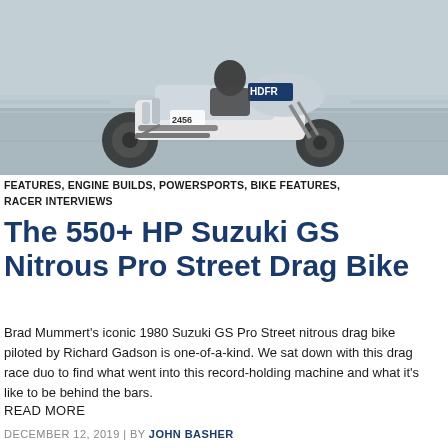[Figure (photo): A drag racing motorcycle (1980 Suzuki GS) speeding down a track, branded with 'HDFR' and number 2456, motion blur visible on background and wheels, rider in racing gear.]
FEATURES, ENGINE BUILDS, POWERSPORTS, BIKE FEATURES, RACER INTERVIEWS
The 550+ HP Suzuki GS Nitrous Pro Street Drag Bike
Brad Mummert's iconic 1980 Suzuki GS Pro Street nitrous drag bike piloted by Richard Gadson is one-of-a-kind. We sat down with this drag race duo to find what went into this record-holding machine and what it's like to be behind the bars.
READ MORE
DECEMBER 12, 2019 | BY JOHN BASHER